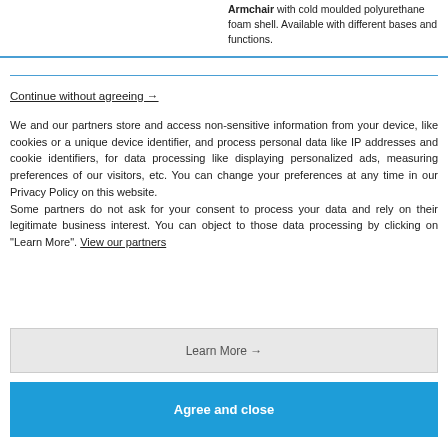Armchair with cold moulded polyurethane foam shell. Available with different bases and functions.
Continue without agreeing →
We and our partners store and access non-sensitive information from your device, like cookies or a unique device identifier, and process personal data like IP addresses and cookie identifiers, for data processing like displaying personalized ads, measuring preferences of our visitors, etc. You can change your preferences at any time in our Privacy Policy on this website.
Some partners do not ask for your consent to process your data and rely on their legitimate business interest. You can object to those data processing by clicking on "Learn More". View our partners
Learn More →
Agree and close